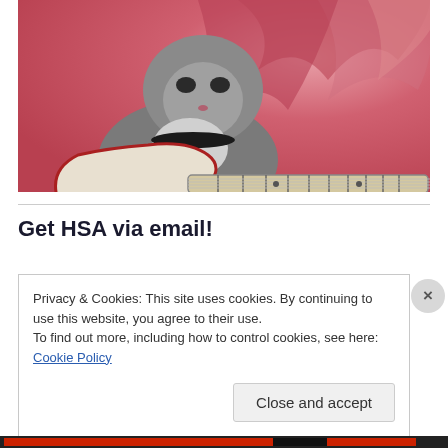[Figure (photo): A cat with a black collar appearing to play an electric guitar, set against a pink/red flame background. The cat is gray/tabby colored. The guitar is white with a red outline and has a visible fretboard.]
Get HSA via email!
Privacy & Cookies: This site uses cookies. By continuing to use this website, you agree to their use.
To find out more, including how to control cookies, see here: Cookie Policy
Close and accept